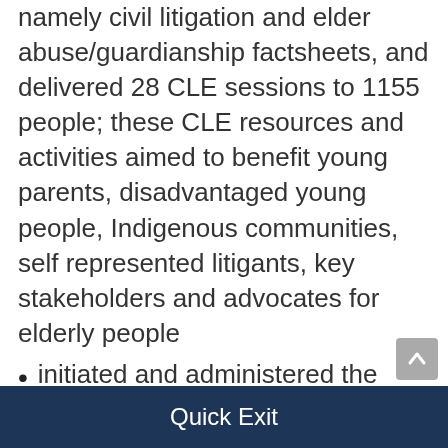namely civil litigation and elder abuse/guardianship factsheets, and delivered 28 CLE sessions to 1155 people; these CLE resources and activities aimed to benefit young parents, disadvantaged young people, Indigenous communities, self represented litigants, key stakeholders and advocates for elderly people
initiated and administered the fourth round of Legal Aid Queensland's CLE Collaboration Fund to resource collaborative initiatives and partnerships to extend the reach of our community legal education work. The fund allows us to draw on CLCs' existing community relationships and professional networks to effectively engage with target audiences across Queensland. As part of round four, we awarded two evaluation grants
Quick Exit